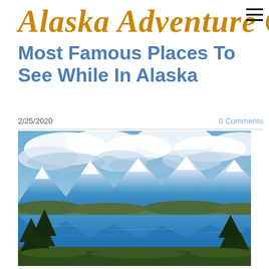Alaska Adventure Char
Most Famous Places To See While In Alaska
2/25/2020    0 Comments
[Figure (photo): Scenic Alaska landscape with snow-capped mountains reflected in a calm lake, framed by tall evergreen trees, under a dramatic cloudy sky.]